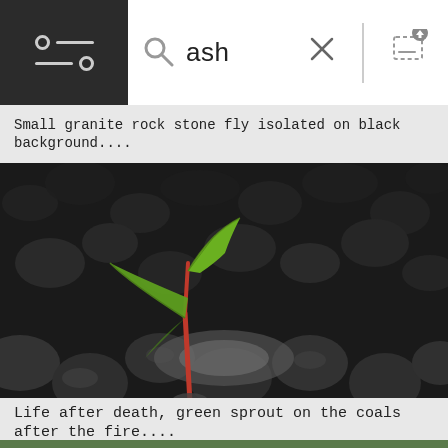ash
Small granite rock stone fly isolated on black background....
[Figure (photo): A green seedling sprout growing out of dark black charcoal/ash, with a red stem, macro close-up photography]
Life after death, green sprout on the coals after the fire....